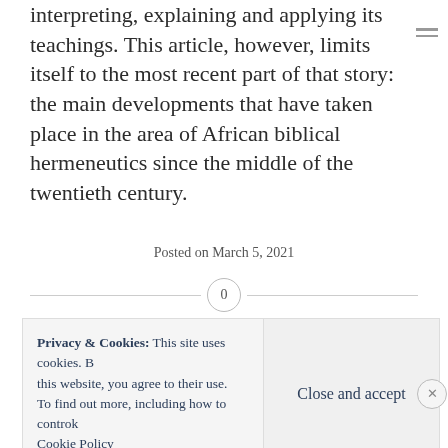interpreting, explaining and applying its teachings. This article, however, limits itself to the most recent part of that story: the main developments that have taken place in the area of African biblical hermeneutics since the middle of the twentieth century.
Posted on March 5, 2021
0
Privacy & Cookies: This site uses cookies. By continuing to use this website, you agree to their use. To find out more, including how to control cookies, see here: Cookie Policy
Close and accept